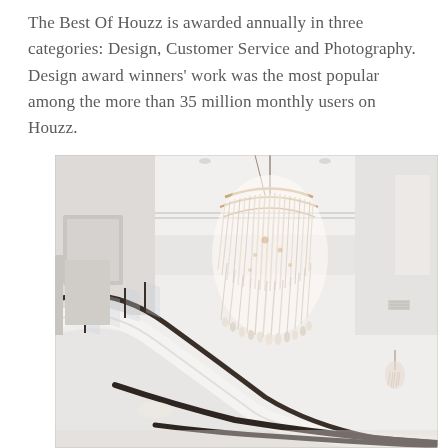The Best Of Houzz is awarded annually in three categories: Design, Customer Service and Photography. Design award winners' work was the most popular among the more than 35 million monthly users on Houzz.
[Figure (photo): Interior photo of a bright white modern home foyer featuring a sweeping curved staircase with dark metal and glass railing, high ceilings with crown molding, and a dramatic large cascading crystal chandelier hanging from the ceiling.]